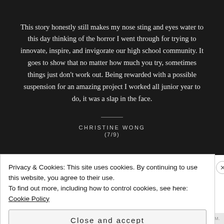This story honestly still makes my nose sting and eyes water to this day thinking of the horror I went through for trying to innovate, inspire, and invigorate our high school community. It goes to show that no matter how much you try, sometimes things just don't work out. Being rewarded with a possible suspension for an amazing project I worked all junior year to do, it was a slap in the face.
CHRISTINE WONG
(7/9)
Privacy & Cookies: This site uses cookies. By continuing to use this website, you agree to their use.
To find out more, including how to control cookies, see here: Cookie Policy
Close and accept